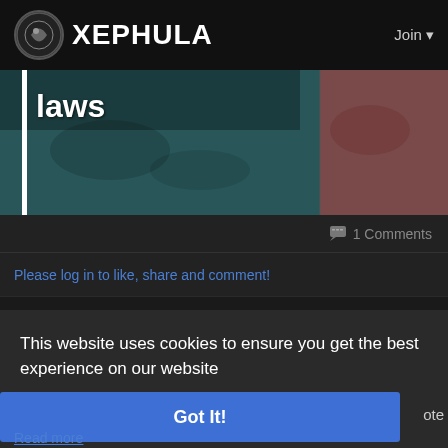XEPHULA   Join
[Figure (photo): Banner image with 'laws' title overlay, split teal and pink toned background imagery]
1 Comments
Please log in to like, share and comment!
This website uses cookies to ensure you get the best experience on our website
Learn More
Got It!
ote
Read more